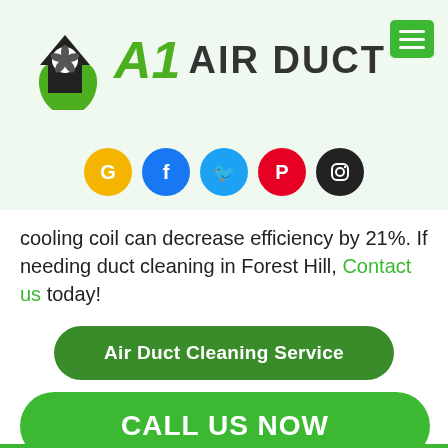[Figure (logo): A1 Air Duct logo with house/fan/leaf icon in black and green, green stylized A1 text, bold black AIR DUCT text]
[Figure (infographic): Row of 5 social media icons: Google (yellow), Facebook (blue), Twitter (light blue), Pinterest (red), Instagram (black)]
cooling coil can decrease efficiency by 21%. If needing duct cleaning in Forest Hill, Contact us today!
Air Duct Cleaning Service
CALL US NOW